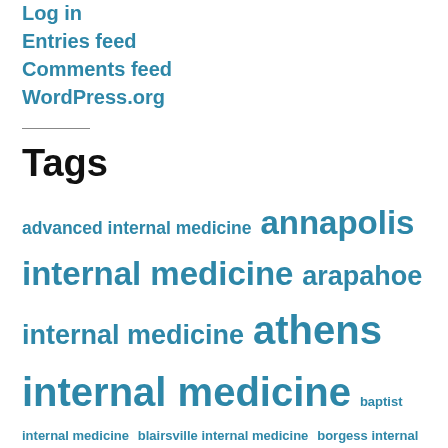Log in
Entries feed
Comments feed
WordPress.org
Tags
advanced internal medicine annapolis internal medicine arapahoe internal medicine athens internal medicine baptist internal medicine blairsville internal medicine borgess internal medicine bronson